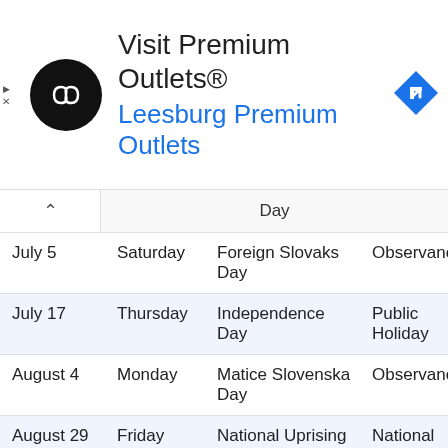[Figure (other): Advertisement banner for Visit Premium Outlets® / Leesburg Premium Outlets with circular logo and navigation icon]
|  | Day | Name | Type |
| --- | --- | --- | --- |
| July 5 | Saturday | Foreign Slovaks Day | Observance |
| July 17 | Thursday | Independence Day | Public Holiday |
| August 4 | Monday | Matice Slovenska Day | Observance |
| August 29 | Friday | National Uprising Day | National holiday |
| September 1 | Monday | Constitution Day | Public Holiday |